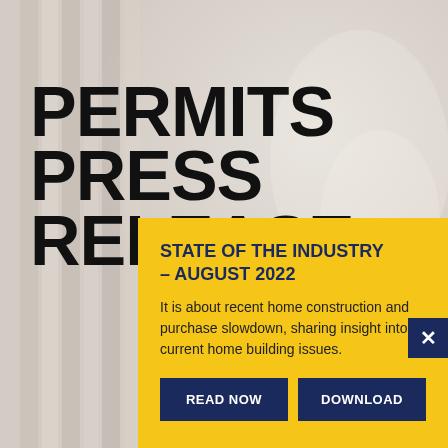[Figure (photo): Background photo of a construction worker with tool belt and lumber planks in the background, desaturated/light tones]
PERMITS PRESS RELEASE
STATE OF THE INDUSTRY – AUGUST 2022
It is about recent home construction and purchase slowdown, sharing insight into current home building issues.